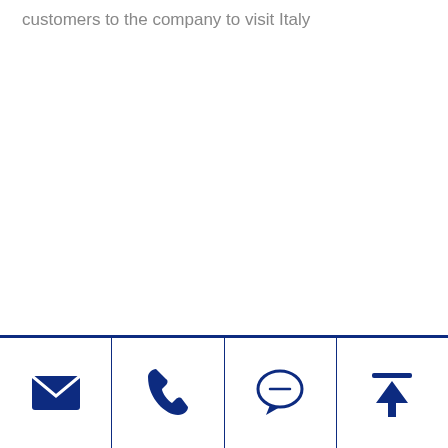customers to the company to visit Italy
[Figure (other): Bottom navigation bar with four icons: envelope (email), phone, chat bubble, and upload/top arrow. Separated by vertical dividers on a white bar with a dark navy blue top border.]